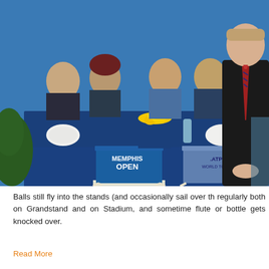[Figure (photo): A Memphis Open tennis tournament scene showing four people seated behind a blue draped table on a tennis court. The table has rolled towels, a vase of yellow flowers, and equipment on it. Two white folding chairs in front bear Memphis Open and ATP World Tour branding. A tall man in a dark suit with a red striped tie stands to the right, hands clasped.]
Balls still fly into the stands (and occasionally sail over th… regularly both on Grandstand and on Stadium, and sometime… flute or bottle gets knocked over.
Read More